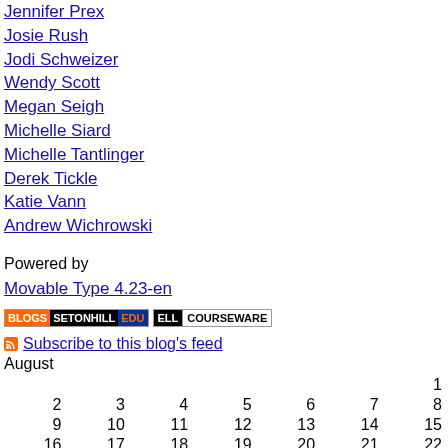Jennifer Prex
Josie Rush
Jodi Schweizer
Wendy Scott
Megan Seigh
Michelle Siard
Michelle Tantlinger
Derek Tickle
Katie Vann
Andrew Wichrowski
Powered by
Movable Type 4.23-en
[Figure (logo): BLOGS SETONHILL EDU badge and ELL COURSEWARE badge]
Subscribe to this blog's feed
| Sun | Mon | Tue | Wed | Thu | Fri | Sat |
| --- | --- | --- | --- | --- | --- | --- |
|  |  |  |  |  |  | 1 |
| 2 | 3 | 4 | 5 | 6 | 7 | 8 |
| 9 | 10 | 11 | 12 | 13 | 14 | 15 |
| 16 | 17 | 18 | 19 | 20 | 21 | 22 |
| 23 | 24 | 25 | 26 | 27 | 28 | 29 |
| 30 | 31 |  |  |  |  |  |
September